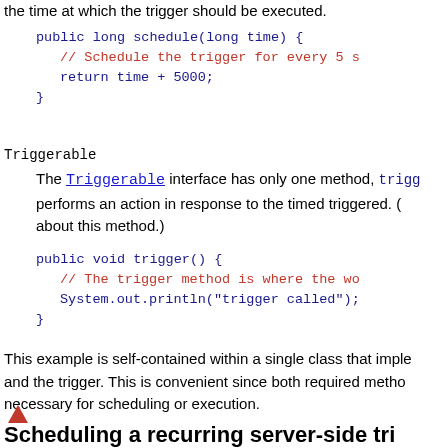the time at which the trigger should be executed.
Triggerable
The Triggerable interface has only one method, trigge performs an action in response to the timed triggered. ( about this method.)
This example is self-contained within a single class that imple and the trigger. This is convenient since both required metho necessary for scheduling or execution.
[Figure (other): Red upward-pointing triangle icon]
Scheduling a recurring server-side tri